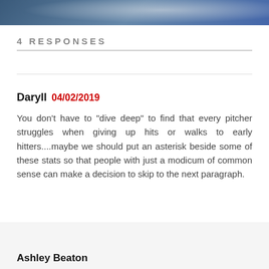[Figure (photo): Sports photo banner showing baseball player(s), partially visible at top of page]
4 RESPONSES
Daryll 04/02/2019
You don't have to “dive deep” to find that every pitcher struggles when giving up hits or walks to early hitters....maybe we should put an asterisk beside some of these stats so that people with just a modicum of common sense can make a decision to skip to the next paragraph.
Ashley Beaton (partially visible)